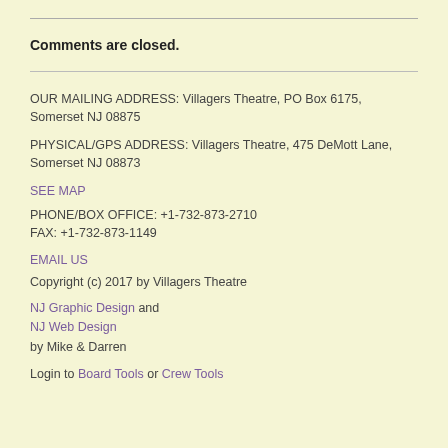Comments are closed.
OUR MAILING ADDRESS: Villagers Theatre, PO Box 6175, Somerset NJ 08875
PHYSICAL/GPS ADDRESS: Villagers Theatre, 475 DeMott Lane, Somerset NJ 08873
SEE MAP
PHONE/BOX OFFICE: +1-732-873-2710
FAX: +1-732-873-1149
EMAIL US
Copyright (c) 2017 by Villagers Theatre
NJ Graphic Design and
NJ Web Design
by Mike & Darren
Login to Board Tools or Crew Tools